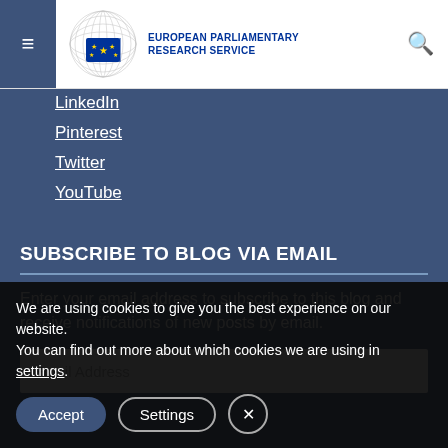European Parliamentary Research Service
LinkedIn
Pinterest
Twitter
YouTube
SUBSCRIBE TO BLOG VIA EMAIL
Enter your email address to subscribe to this blog and receive notifications of new posts by email.
Email Address
We are using cookies to give you the best experience on our website.
You can find out more about which cookies we are using in settings.